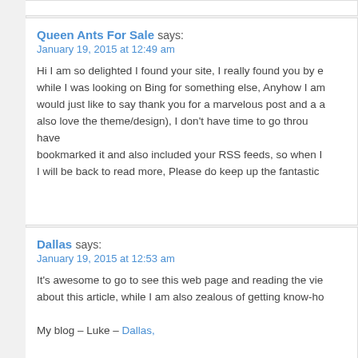(partial top comment box)
Queen Ants For Sale says:
January 19, 2015 at 12:49 am

Hi I am so delighted I found your site, I really found you by error, while I was looking on Bing for something else, Anyhow I am would just like to say thank you for a marvelous post and a all round entertaining blog (I also love the theme/design), I don't have time to go through it all at the minute but I have bookmarked it and also included your RSS feeds, so when I have time I will be back to read more, Please do keep up the fantastic
Dallas says:
January 19, 2015 at 12:53 am

It's awesome to go to see this web page and reading the views of all colleagues about this article, while I am also zealous of getting know-how.

My blog – Luke – Dallas,
My Horse cheats For Mac says:
January 19, 2015 at 1:29 am

With havin so much content do you ever run into any problems of plagorism or copyright violation? My blog has a lot of completely unique content I've either written myself or outs